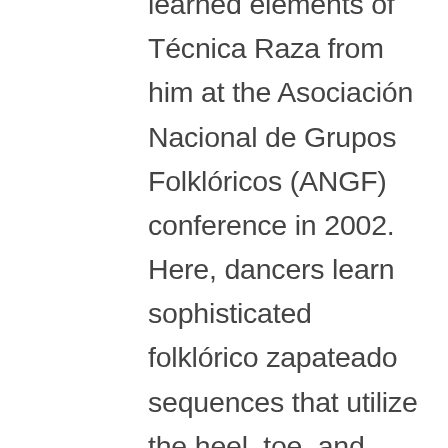learned elements of Técnica Raza from him at the Asociación Nacional de Grupos Folklóricos (ANGF) conference in 2002. Here, dancers learn sophisticated folklórico zapateado sequences that utilize the heel, toe, and entire body as they travel across the floor. Designed to increase spatial awareness, enhance motor ability, and especially encourage clear zapateado footwork sequences this technique is a wonderful tool for dance training (Director's Class ANGF Dance Workshop, June 29-July 6, 2002;